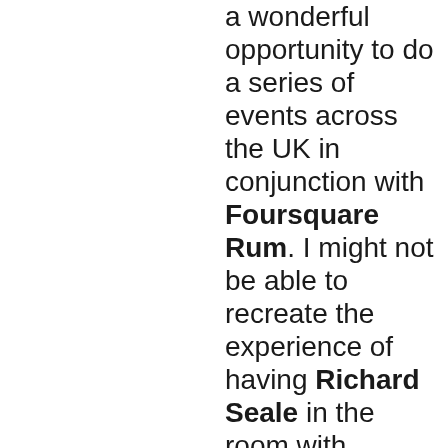a wonderful opportunity to do a series of events across the UK in conjunction with Foursquare Rum. I might not be able to recreate the experience of having Richard Seale in the room with